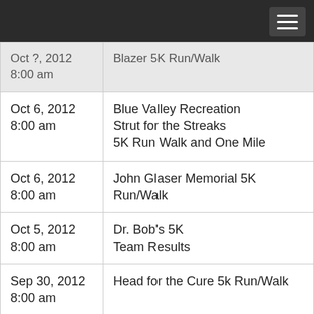| Date/Time | Event |
| --- | --- |
| Oct ?, 2012
8:00 am | Blazer 5K Run/Walk |
| Oct 6, 2012
8:00 am | Blue Valley Recreation
Strut for the Streaks
5K Run Walk and One Mile |
| Oct 6, 2012
8:00 am | John Glaser Memorial 5K Run/Walk |
| Oct 5, 2012
8:00 am | Dr. Bob's 5K
Team Results |
| Sep 30, 2012
8:00 am | Head for the Cure 5k Run/Walk |
|  |  |